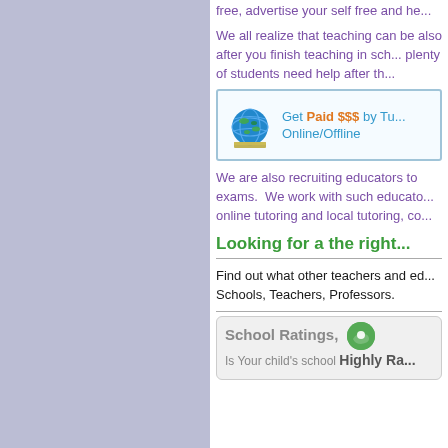free, advertise your self free and he...
We all realize that teaching can be also after you finish teaching in sch... plenty of students need help after th...
[Figure (infographic): Ad banner with globe icon: Get Paid $$$ by Tu... Online/Offline]
We are also recruiting educators to exams. We work with such educato... online tutoring and local tutoring, co...
Looking for a the right...
Find out what other teachers and ed... Schools, Teachers, Professors.
[Figure (infographic): School Ratings box with green chat icon. Is Your child's school Highly Ra...]